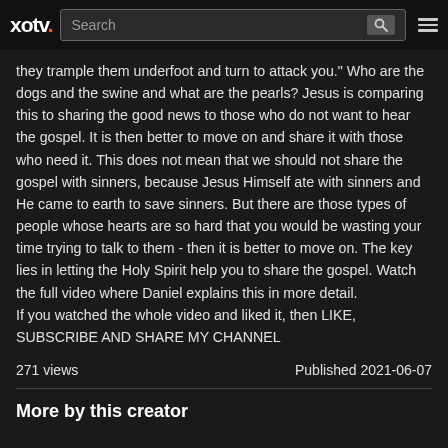xotv. [Search] [search icon] [menu]
they trample them underfoot and turn to attack you." Who are the dogs and the swine and what are the pearls? Jesus is comparing this to sharing the good news to those who do not want to hear the gospel. It is then better to move on and share it with those who need it. This does not mean that we should not share the gospel with sinners, because Jesus Himself ate with sinners and He came to earth to save sinners. But there are those types of people whose hearts are so hard that you would be wasting your time trying to talk to them - then it is better to move on. The key lies in letting the Holy Spirit help you to share the gospel. Watch the full video where Daniel explains this in more detail.
If you watched the whole video and liked it, then LIKE, SUBSCRIBE AND SHARE MY CHANNEL
271 views
Published 2021-06-07
More by this creator